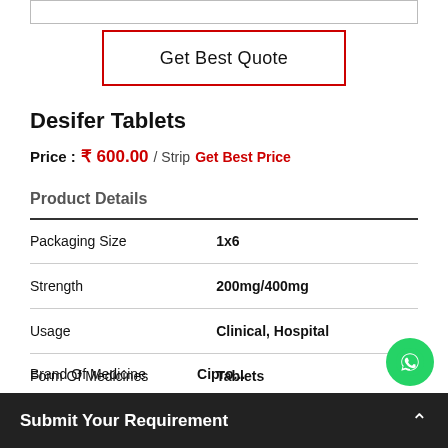[Figure (other): Top input/search bar partially visible]
Get Best Quote
Desifer Tablets
Price: ₹600.00 / Strip  Get Best Price
Product Details
| Packaging Size | 1x6 |
| Strength | 200mg/400mg |
| Usage | Clinical, Hospital |
| Form Of Medicines | Tablets |
Submit Your Requirement